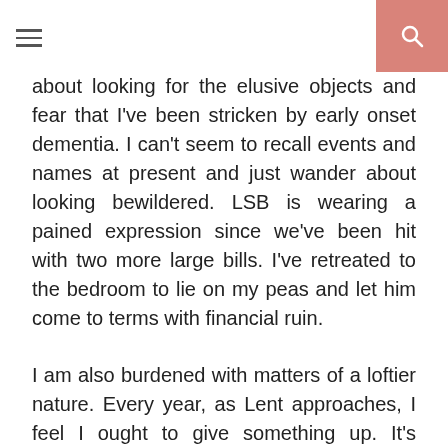[hamburger menu] [search icon]
about looking for the elusive objects and fear that I've been stricken by early onset dementia. I can't seem to recall events and names at present and just wander about looking bewildered. LSB is wearing a pained expression since we've been hit with two more large bills. I've retreated to the bedroom to lie on my peas and let him come to terms with financial ruin.
I am also burdened with matters of a loftier nature. Every year, as Lent approaches, I feel I ought to give something up. It's usually ill-thought through and I fall off the wagon a few days in and much self-flagellation ensues. One is obviously supposed to seek spiritual support to get through the ordeal of self-denial, and I rarely manage to get myself out to